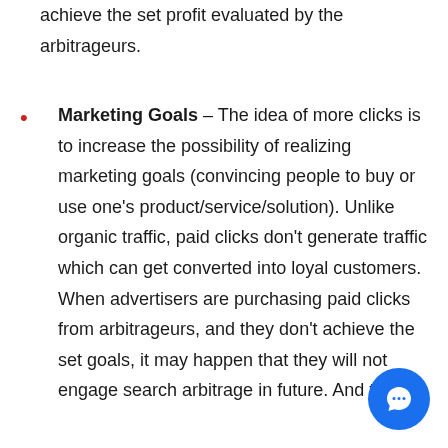achieve the set profit evaluated by the arbitrageurs.
Marketing Goals – The idea of more clicks is to increase the possibility of realizing marketing goals (convincing people to buy or use one's product/service/solution). Unlike organic traffic, paid clicks don't generate traffic which can get converted into loyal customers. When advertisers are purchasing paid clicks from arbitrageurs, and they don't achieve the set goals, it may happen that they will not engage search arbitrage in future. And this